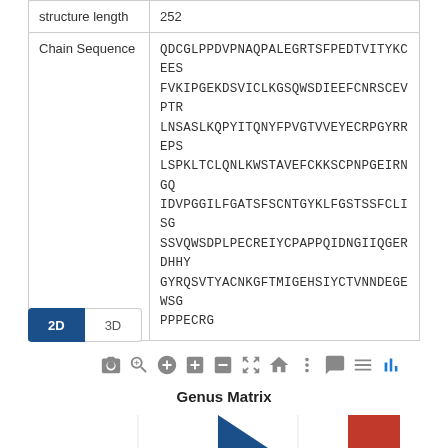|  |  |
| --- | --- |
| structure length | 252 |
| Chain Sequence | QDCGLPPDVPNAQPALEGRTSFPEDTVITYKCEESFVKIPGEKDSVICLKGSQWSDIEEFCNRSCEVPTRLNSASLKQPYITQNYFPVGTVVEYECRPGYRREPS
LSPKLTCLQNLKWSTAVEFCKKKSCPNPGEIRNGQIDVPGGILFGATISFSCNTGYKLFGSTSSFCLISGSSVQWSDPLPECREIYCPAPPQIDNGIIQGERDHYGYRQSVTYACNKGFTMIGEHSIYCTVNNDEGEWSGPPPECRG |
[Figure (screenshot): 2D/3D toggle buttons and a toolbar with icons for camera, zoom, pan, and other chart controls]
Genus Matrix
[Figure (other): Bottom portion of a Genus Matrix chart showing colored blocks (blue triangle on left, red square on right)]